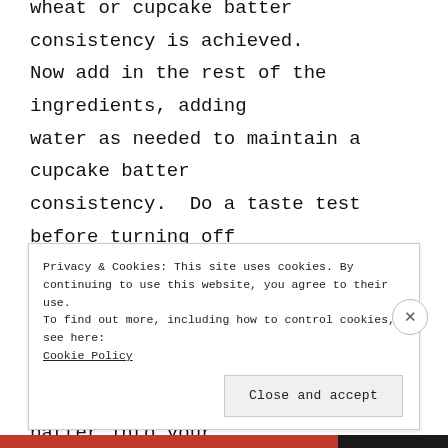wheat or cupcake batter consistency is achieved. Now add in the rest of the ingredients, adding water as needed to maintain a cupcake batter consistency.  Do a taste test before turning off stovetop heating element. Add salt or stevia to your liking, the more coconut oil you use, the creamy it will be. Pour brownie batter into your favorite bowl. This recipe makes two servings, so either share with a worthy soul or eat half and save the rest for tomorrow! Whatever you do, please don't eat the brownie batter right before
Privacy & Cookies: This site uses cookies. By continuing to use this website, you agree to their use.
To find out more, including how to control cookies, see here:
Cookie Policy
Close and accept